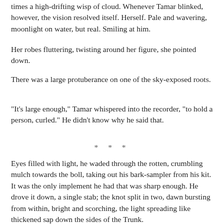times a high-drifting wisp of cloud. Whenever Tamar blinked, however, the vision resolved itself. Herself. Pale and wavering, moonlight on water, but real. Smiling at him.
Her robes fluttering, twisting around her figure, she pointed down.
There was a large protuberance on one of the sky-exposed roots.
"It's large enough," Tamar whispered into the recorder, "to hold a person, curled." He didn't know why he said that.
* * *
Eyes filled with light, he waded through the rotten, crumbling mulch towards the boll, taking out his bark-sampler from his kit. It was the only implement he had that was sharp enough. He drove it down, a single stab; the knot split in two, dawn bursting from within, bright and scorching, the light spreading like thickened sap down the sides of the Trunk.